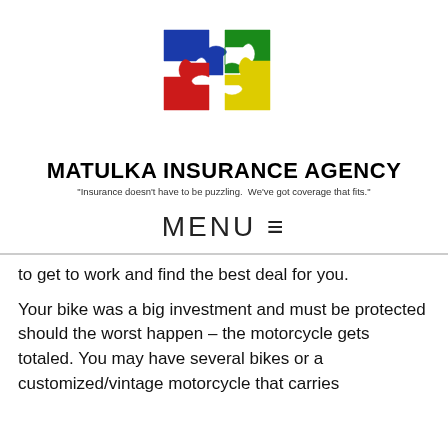[Figure (logo): Matulka Insurance Agency logo: four interlocking puzzle pieces in blue, green, red, and yellow]
MATULKA INSURANCE AGENCY
"Insurance doesn't have to be puzzling.  We've got coverage that fits."
MENU ≡
to get to work and find the best deal for you.
Your bike was a big investment and must be protected should the worst happen – the motorcycle gets totaled. You may have several bikes or a customized/vintage motorcycle that carries